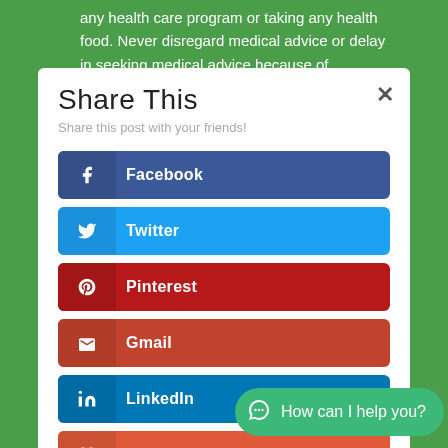any health care program or taking any health food. Never disregard medical advice or delay in seeking medical advice because of
[Figure (screenshot): Share This modal dialog with social media sharing buttons: Facebook (dark blue), Twitter (light blue), Pinterest (dark red), Gmail (red-brown), LinkedIn (blue), Like (orange-red). A green chat bubble in the bottom right reads 'How can I help you?' with a WhatsApp-style icon. A close (×) button is in the top right of the modal.]